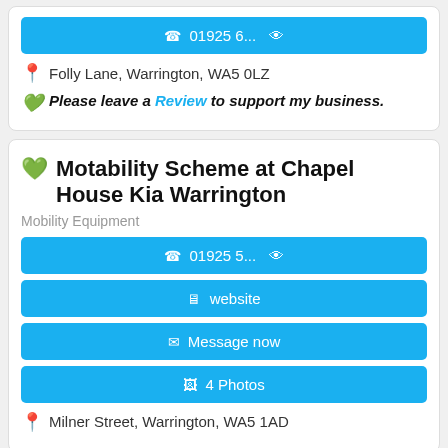📞 01925 6... 👁
📍 Folly Lane, Warrington, WA5 0LZ
💚 Please leave a Review to support my business.
💚 Motability Scheme at Chapel House Kia Warrington
Mobility Equipment
📞 01925 5... 👁
🖥 website
✉ Message now
🖼 4 Photos
📍 Milner Street, Warrington, WA5 1AD